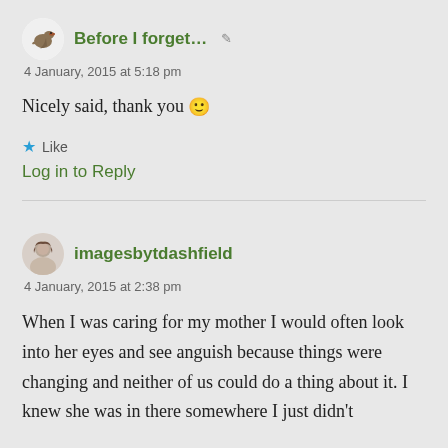Before I forget...
4 January, 2015 at 5:18 pm
Nicely said, thank you 🙂
★ Like
Log in to Reply
imagesbytdashfield
4 January, 2015 at 2:38 pm
When I was caring for my mother I would often look into her eyes and see anguish because things were changing and neither of us could do a thing about it. I knew she was in there somewhere I just didn't